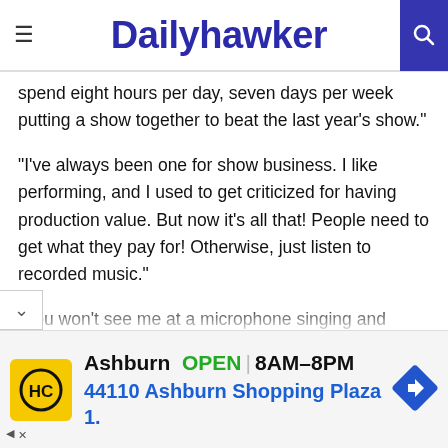Dailyhawker
spend eight hours per day, seven days per week putting a show together to beat the last year’s show.”
“I’ve always been one for show business. I like performing, and I used to get criticized for having production value. But now it’s all that! People need to get what they pay for! Otherwise, just listen to recorded music.”
“You won’t see me at a microphone singing and tapping my foot. I spend a lot of money on sets, costumes and [ba]nd. I believe people deserve a show. I’m a singer,
[Figure (infographic): Advertisement banner: HC logo (yellow background, black circle with HC text), Ashburn OPEN 8AM-8PM, 44110 Ashburn Shopping Plaza 1., blue navigation arrow icon]